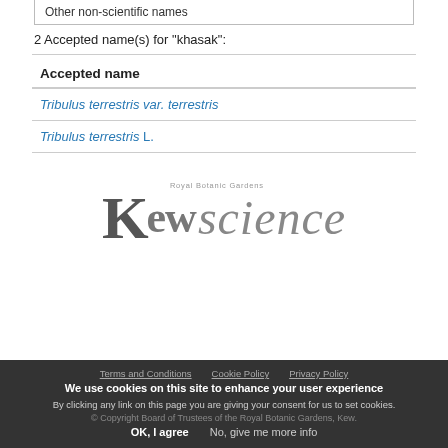| Other non-scientific names |
| --- |
2 Accepted name(s) for "khasak":
| Accepted name |
| --- |
| Tribulus terrestris var. terrestris |
| Tribulus terrestris L. |
[Figure (logo): Kew Science logo with Royal Botanic Gardens wordmark above stylized 'Kew' in serif bold and 'science' in italic]
Terms and Conditions   Privacy Policy   Privacy Policy
© Copyright Board of Trustees of the Royal Botanic Gardens, Kew.
We use cookies on this site to enhance your user experience
By clicking any link on this page you are giving your consent for us to set cookies.
OK, I agree   No, give me more info